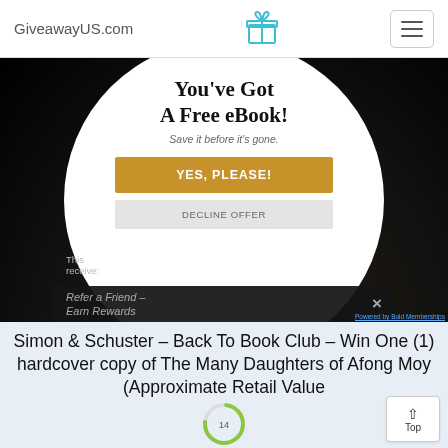GiveawayUS.com
[Figure (screenshot): A popup overlay on a dark background showing a free eBook offer. It contains a white circle with bold serif title 'You've Got A Free eBook!', subtitle 'Save it before it's gone.', a gold 'YES, PLEASE!' button, a gray 'DECLINE OFFER' button. Below that is a 'Refer a Friend – Earn Rewards' bar with a close (×) button. Text at bottom left reads partial sentence about receiving something.]
Simon & Schuster – Back To Book Club – Win One (1) hardcover copy of The Many Daughters of Afong Moy (Approximate Retail Value
14 days left